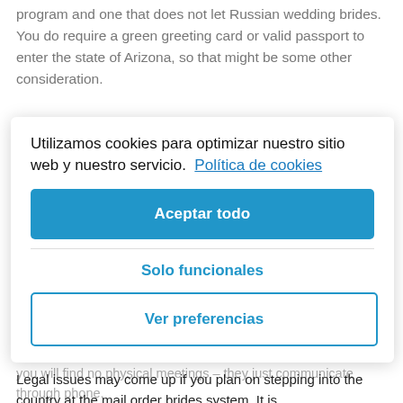program and one that does not let Russian wedding brides. You do require a green greeting card or valid passport to enter the state of Arizona, so that might be some other consideration.
Utilizamos cookies para optimizar nuestro sitio web y nuestro servicio. Política de cookies
Aceptar todo
Solo funcionales
Ver preferencias
Your mailbox order wedding brides service works very similar to the traditional-based partnerships. The only difference is that you will find no physical meetings – they just communicate through phone.
Legal issues may come up if you plan on stepping into the country at the mail order brides system. It is